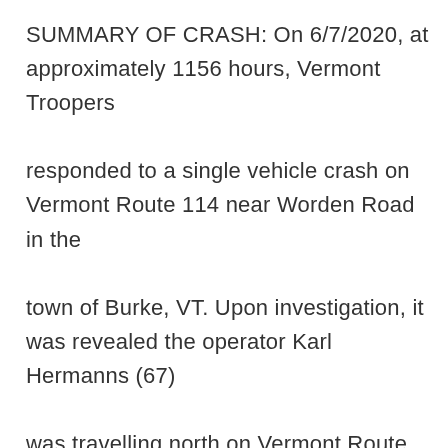SUMMARY OF CRASH: On 6/7/2020, at approximately 1156 hours, Vermont Troopers responded to a single vehicle crash on Vermont Route 114 near Worden Road in the town of Burke, VT. Upon investigation, it was revealed the operator Karl Hermanns (67) was travelling north on Vermont Route 114 when he left the roadway for an unknown reason. After leaving the roadway the vehicle then rolled. Preliminary information